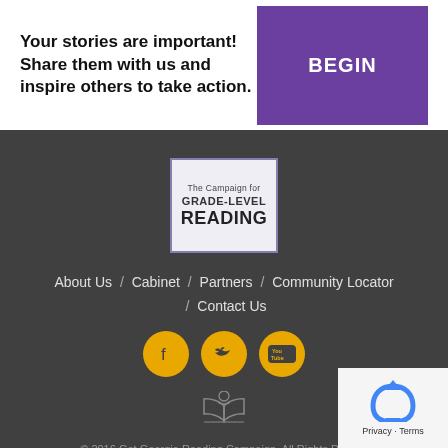Your stories are important! Share them with us and inspire others to take action.
[Figure (other): Purple BEGIN button]
[Figure (logo): The Campaign for Grade-Level Reading logo in a purple-bordered box]
About Us / Cabinet / Partners / Community Locator / Contact Us
[Figure (other): Three gold social media icons: Facebook, Twitter, YouTube]
[Figure (illustration): Small grey book/reading icon]
© 2016 Get Georgia Reading Campaign. All Rights Reserved